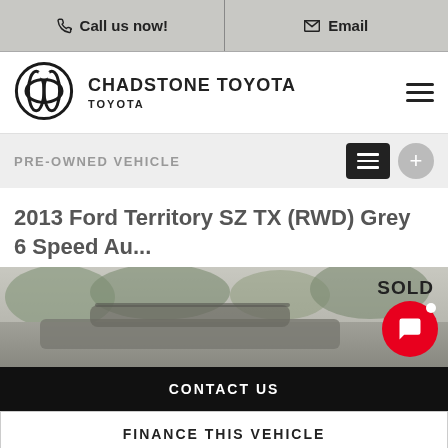Call us now! | Email
[Figure (logo): Toyota logo and Chadstone Toyota brand name with hamburger menu]
PRE-OWNED VEHICLE
2013 Ford Territory SZ TX (RWD) Grey 6 Speed Au...
[Figure (photo): Grey Ford Territory SUV photo, partially visible, with SOLD badge overlay]
CONTACT US
FINANCE THIS VEHICLE